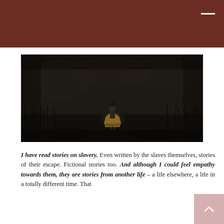[Figure (photo): Dark atmospheric photo of a small figure wearing a yellow dress and hat standing in a dark, moody landscape with tall grass and dim lighting]
I have read stories on slavery. Even written by the slaves themselves, stories of their escape. Fictional stories too. And although I could feel empathy towards them, they are stories from another life – a life elsewhere, a life in a totally different time. That